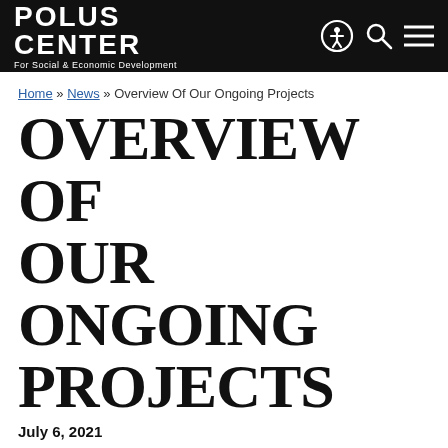POLUS CENTER For Social & Economic Development
Home » News » Overview Of Our Ongoing Projects
OVERVIEW OF OUR ONGOING PROJECTS
July 6, 2021
The Polus Center and its partners have continued to help people with disabilities throughout the world with unwavering commitment despite the many challenges posed by the pandemic. Much has taken place in the past year that we would like to share with